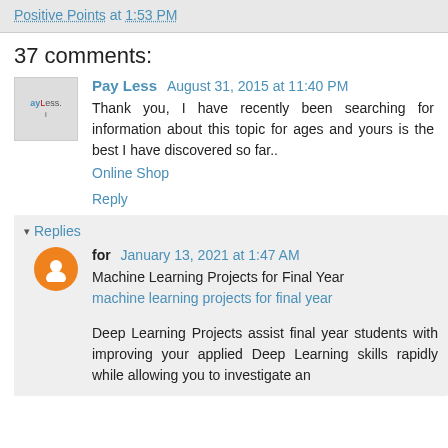Positive Points at 1:53 PM
37 comments:
Pay Less  August 31, 2015 at 11:40 PM
Thank you, I have recently been searching for information about this topic for ages and yours is the best I have discovered so far..
Online Shop
Reply
▾ Replies
for  January 13, 2021 at 1:47 AM
Machine Learning Projects for Final Year
machine learning projects for final year
Deep Learning Projects assist final year students with improving your applied Deep Learning skills rapidly while allowing you to investigate an